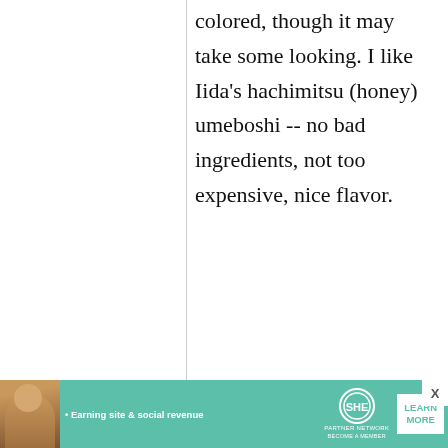colored, though it may take some looking. I like Iida's hachimitsu (honey) umeboshi -- no bad ingredients, not too expensive, nice flavor.
Michi
31 May, 2010 - 20:12
Re:
Homemade
[Figure (infographic): Advertisement banner for SHE Partner Network with text 'Earning site & social revenue', SHE logo, and LEARN MORE button]